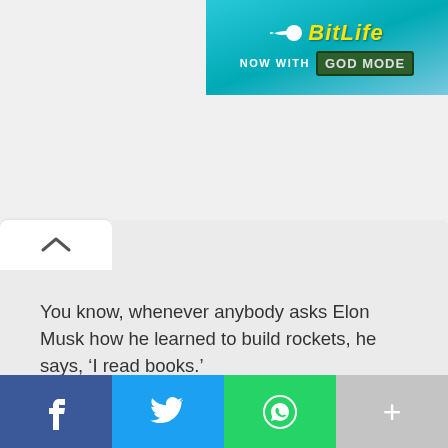[Figure (screenshot): BitLife app advertisement banner: 'BitLife NOW WITH GOD MODE' on a teal/cyan gradient background with a sperm icon logo]
You know, whenever anybody asks Elon Musk how he learned to build rockets, he says, ‘I read books.’
[Figure (screenshot): Social sharing bar with four buttons: Facebook (blue), Twitter (light blue), WhatsApp (green), and a grey More (+) button]